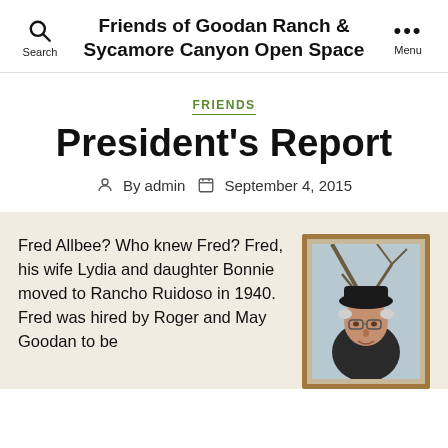Friends of Goodan Ranch & Sycamore Canyon Open Space
FRIENDS
President's Report
By admin  September 4, 2015
Fred Allbee? Who knew Fred? Fred, his wife Lydia and daughter Bonnie moved to Rancho Ruidoso in 1940. Fred was hired by Roger and May Goodan to be
[Figure (photo): Portrait photo of an elderly man wearing a dark hat and glasses, in a framed photograph with brown border]